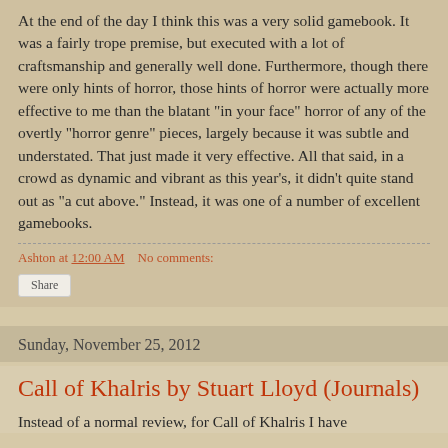At the end of the day I think this was a very solid gamebook. It was a fairly trope premise, but executed with a lot of craftsmanship and generally well done. Furthermore, though there were only hints of horror, those hints of horror were actually more effective to me than the blatant "in your face" horror of any of the overtly "horror genre" pieces, largely because it was subtle and understated. That just made it very effective. All that said, in a crowd as dynamic and vibrant as this year's, it didn't quite stand out as "a cut above." Instead, it was one of a number of excellent gamebooks.
Ashton at 12:00 AM    No comments:
Share
Sunday, November 25, 2012
Call of Khalris by Stuart Lloyd (Journals)
Instead of a normal review, for Call of Khalris I have